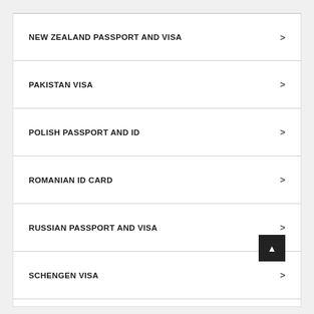NEW ZEALAND PASSPORT AND VISA
PAKISTAN VISA
POLISH PASSPORT AND ID
ROMANIAN ID CARD
RUSSIAN PASSPORT AND VISA
SCHENGEN VISA
SINGAPORE PASSPORT